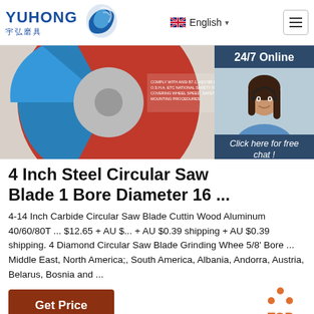YUHONG 宇弘磨具 | English | Menu
[Figure (photo): Circular saw blade product image (red/blue disk with safety text) with a 24/7 Online chat widget showing a customer service representative, a 'Click here for free chat!' message, and a QUOTATION button.]
4 Inch Steel Circular Saw Blade 1 Bore Diameter 16 ...
4-14 Inch Carbide Circular Saw Blade Cutting Wood Aluminum 40/60/80T ... $12.65 + AU $... + AU $0.39 shipping + AU $0.39 shipping. 4 Diamond Circular Saw Blade Grinding Wheel 5/8' Bore ... Middle East, North America;, South America, Albania, Andorra, Austria, Belarus, Bosnia and ...
Get Price
[Figure (illustration): TOP navigation button with orange dots forming an upward arrow above the word TOP in orange]